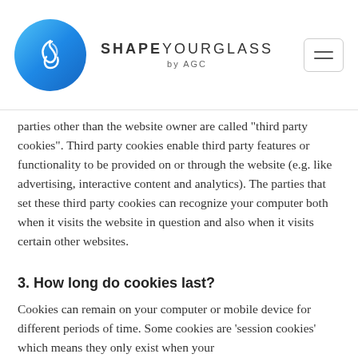SHAPEYOURGLASS by AGC
parties other than the website owner are called "third party cookies". Third party cookies enable third party features or functionality to be provided on or through the website (e.g. like advertising, interactive content and analytics). The parties that set these third party cookies can recognize your computer both when it visits the website in question and also when it visits certain other websites.
3. How long do cookies last?
Cookies can remain on your computer or mobile device for different periods of time. Some cookies are 'session cookies' which means they only exist when your